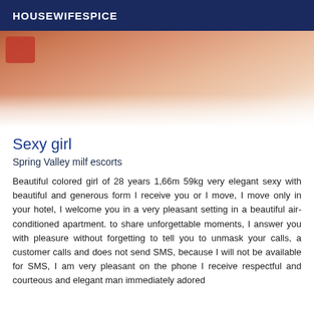HOUSEWIFESPICE
[Figure (photo): Partial photo of a person lying on a white surface, showing skin and a red object in the upper left corner.]
Sexy girl
Spring Valley milf escorts
Beautiful colored girl of 28 years 1,66m 59kg very elegant sexy with beautiful and generous form I receive you or I move, I move only in your hotel, I welcome you in a very pleasant setting in a beautiful air-conditioned apartment. to share unforgettable moments, I answer you with pleasure without forgetting to tell you to unmask your calls, a customer calls and does not send SMS, because I will not be available for SMS, I am very pleasant on the phone I receive respectful and courteous and elegant man immediately adored